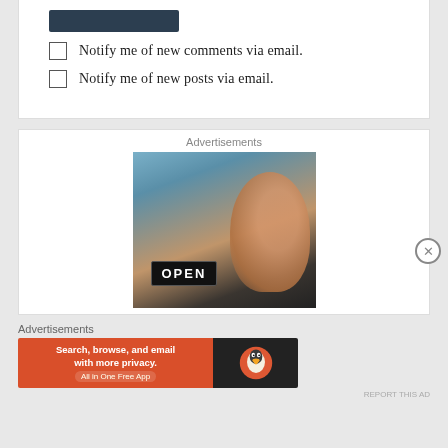[Figure (other): Dark navy button/bar at top]
Notify me of new comments via email.
Notify me of new posts via email.
Advertisements
[Figure (photo): Photo of a smiling woman holding an OPEN sign in a shop window]
Advertisements
[Figure (other): DuckDuckGo advertisement banner: Search, browse, and email with more privacy. All in One Free App]